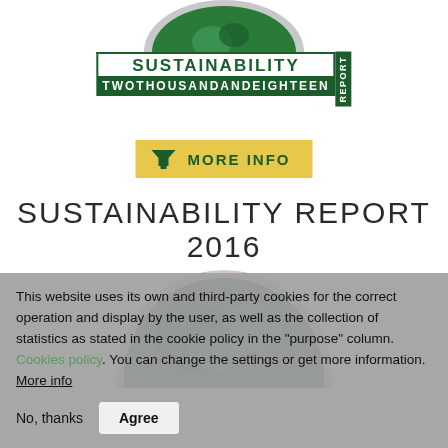[Figure (logo): Top partial circle logo/globe image cropped at top of page]
SUSTAINABILITY REPORT TWOTHOUSANDANDEIGHTEEN
[Figure (infographic): MORE INFO button with green downward arrow icon on yellow background]
SUSTAINABILITY REPORT 2016
[Figure (photo): Partial circular globe/earth image in green tones]
This website uses its own and third-party cookies for the correct operation and display by the user, as well as the collection of statistics as stated in the cookie policy in the "purpose" column. Cookies policy. You can change the settings or get more information. More info
No, thanks   Agree